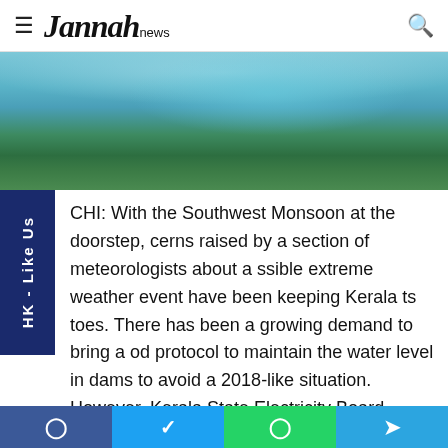Jannah news
[Figure (photo): Aerial view of a reservoir or lake with blue water and lush green forested hills/islands]
CHI: With the Southwest Monsoon at the doorstep, cerns raised by a section of meteorologists about a ssible extreme weather event have been keeping Kerala ts toes. There has been a growing demand to bring a od protocol to maintain the water level in dams to avoid a 2018-like situation. However, Kerala State Electricity Board (KSEB) which manages 57 dams is not panicky.
“We have a ‘Rule Curve’ to maintain the water level in dams
Facebook | Twitter | WhatsApp | Telegram